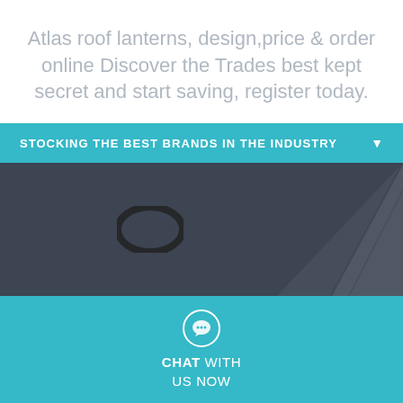Atlas roof lanterns, design,price & order online Discover the Trades best kept secret and start saving, register today.
STOCKING THE BEST BRANDS IN THE INDUSTRY
[Figure (illustration): Dark gray background with an oval ring/gasket component on the left and geometric angular shapes on the right resembling a roof lantern structure]
CHAT WITH US NOW